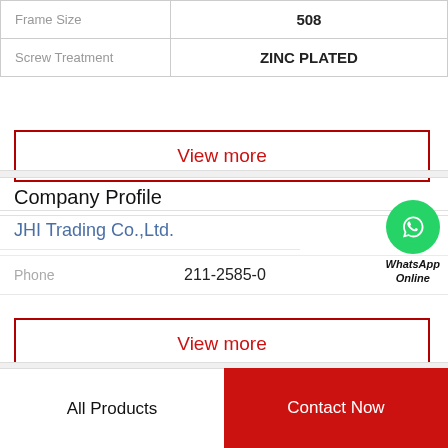| Frame Size | 508 |
| Screw Treatment | ZINC PLATED |
View more
Company Profile
JHI Trading Co.,Ltd.
[Figure (logo): WhatsApp Online green circle icon with phone handset, labeled WhatsApp Online]
Phone  211-2585-0
View more
All Products
Contact Now